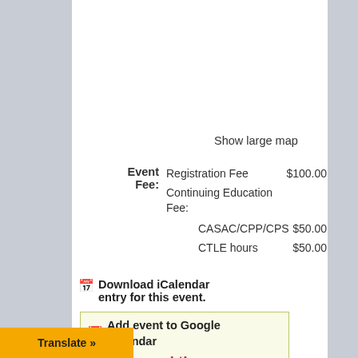Show large map
| Event Fee: | Item | Amount |
| --- | --- | --- |
| Event Fee: | Registration Fee | $100.00 |
|  | Continuing Education Fee: |  |
|  | CASAC/CPP/CPS | $50.00 |
|  | CTLE hours | $50.00 |
Download iCalendar entry for this event.
Add event to Google Calendar
Help spread the word
Translate »